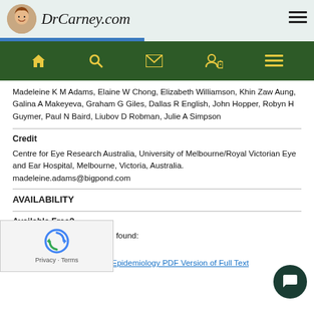DrCarney.com
Madeleine K M Adams, Elaine W Chong, Elizabeth Williamson, Khin Zaw Aung, Galina A Makeyeva, Graham G Giles, Dallas R English, John Hopper, Robyn H Guymer, Paul N Baird, Liubov D Robman, Julie A Simpson
Credit
Centre for Eye Research Australia, University of Melbourne/Royal Victorian Eye and Ear Hospital, Melbourne, Victoria, Australia. madeleine.adams@bigpond.com
AVAILABILITY
Available Free?
No free full text of study was found:
1:
American Journal of Epidemiology PDF Version of Full Text